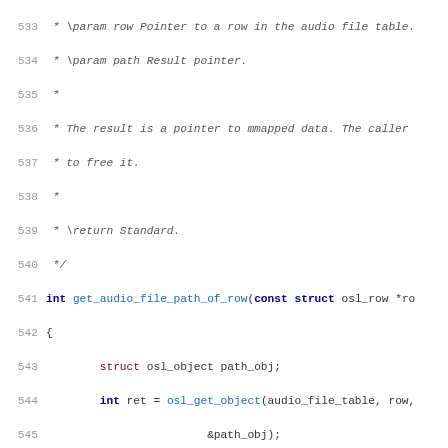Source code listing lines 533-565, C language code with comments and function definitions for get_audio_file_path_of_row and get_hash_object_of_aft_row